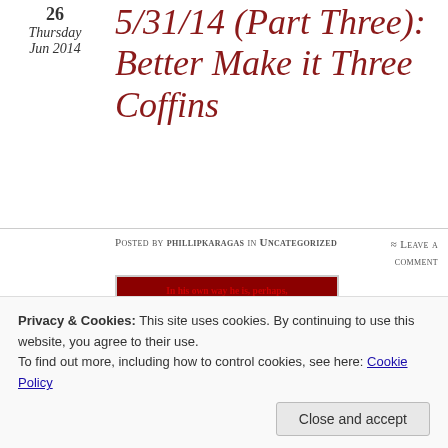26 Thursday Jun 2014
5/31/14 (Part Three): Better Make it Three Coffins
Posted by phillipkaragas in Uncategorized
≈ Leave a comment
[Figure (photo): Red-toned movie poster for a Western film. Tagline reads: 'In his own way he is, perhaps, the most dangerous man who ever lived!' Shows a gunfighter silhouette with crowds in the background, all in deep red tones.]
Tags
1960's films, A Fistful of Dollars,
Privacy & Cookies: This site uses cookies. By continuing to use this website, you agree to their use.
To find out more, including how to control cookies, see here: Cookie Policy
Close and accept